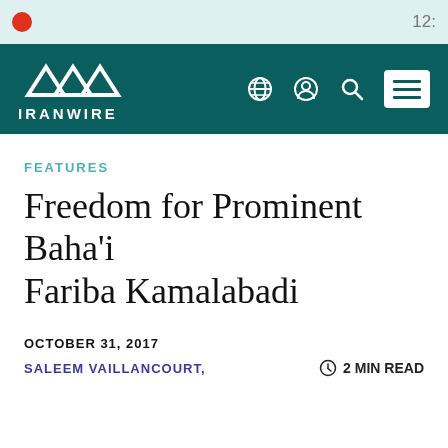IranWire navigation bar with logo and icons
FEATURES
Freedom for Prominent Baha'i Fariba Kamalabadi
OCTOBER 31, 2017
SALEEM VAILLANCOURT,
2 MIN READ